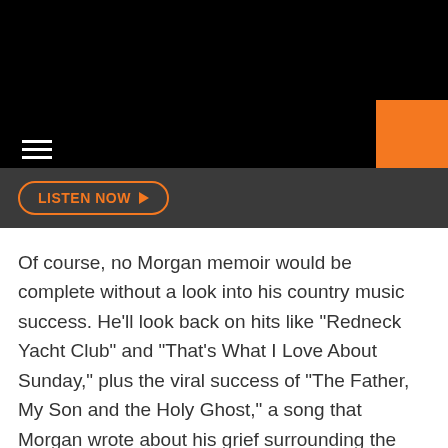[Figure (screenshot): Black navigation header bar with hamburger menu icon (three white horizontal lines) on the left and an orange square in the top right corner]
[Figure (screenshot): Dark gray bar containing a 'LISTEN NOW' button with orange border and play arrow icon]
Of course, no Morgan memoir would be complete without a look into his country music success. He'll look back on hits like "Redneck Yacht Club" and "That's What I Love About Sunday," plus the viral success of "The Father, My Son and the Holy Ghost," a song that Morgan wrote about his grief surrounding the death of his son, Jerry.
Morgan wrote God, Family, Country with NY Times Bestselling author Jim DeFelice, and he also narrates the audiobook version. The book is due out on Sept. 27.